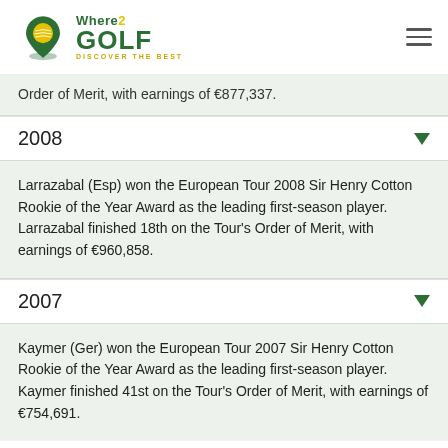Where2 GOLF DISCOVER THE BEST
Order of Merit, with earnings of €877,337.
2008
Larrazabal (Esp) won the European Tour 2008 Sir Henry Cotton Rookie of the Year Award as the leading first-season player. Larrazabal finished 18th on the Tour's Order of Merit, with earnings of €960,858.
2007
Kaymer (Ger) won the European Tour 2007 Sir Henry Cotton Rookie of the Year Award as the leading first-season player. Kaymer finished 41st on the Tour's Order of Merit, with earnings of €754,691.